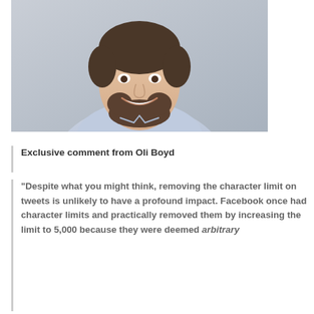[Figure (photo): Headshot photo of a smiling man with a beard wearing a light blue collared shirt, against a grey background]
Exclusive comment from Oli Boyd
"Despite what you might think, removing the character limit on tweets is unlikely to have a profound impact. Facebook once had character limits and practically removed them by increasing the limit to 5,000 because they were deemed arbitrary